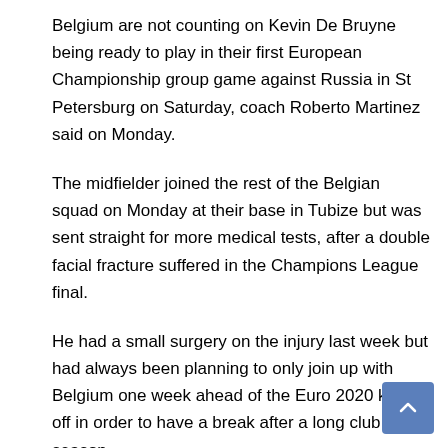Belgium are not counting on Kevin De Bruyne being ready to play in their first European Championship group game against Russia in St Petersburg on Saturday, coach Roberto Martinez said on Monday.
The midfielder joined the rest of the Belgian squad on Monday at their base in Tubize but was sent straight for more medical tests, after a double facial fracture suffered in the Champions League final.
He had a small surgery on the injury last week but had always been planning to only join up with Belgium one week ahead of the Euro 2020 kick off in order to have a break after a long club season.